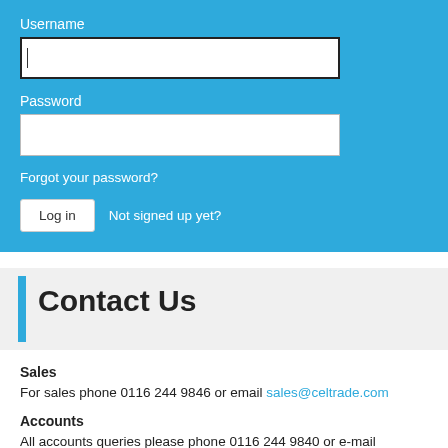Username
[Figure (screenshot): Username text input field with black border, active/focused state]
Password
[Figure (screenshot): Password text input field]
Forgot your password?
Log in   Not signed up yet?
Contact Us
Sales
For sales phone 0116 244 9846 or email sales@celtrade.com
Accounts
All accounts queries please phone 0116 244 9840 or e-mail accounts@celtrade.com